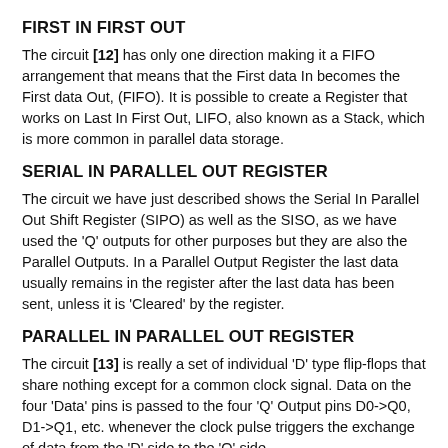FIRST IN FIRST OUT
The circuit [12] has only one direction making it a FIFO arrangement that means that the First data In becomes the First data Out, (FIFO). It is possible to create a Register that works on Last In First Out, LIFO, also known as a Stack, which is more common in parallel data storage.
SERIAL IN PARALLEL OUT REGISTER
The circuit we have just described shows the Serial In Parallel Out Shift Register (SIPO) as well as the SISO, as we have used the 'Q' outputs for other purposes but they are also the Parallel Outputs. In a Parallel Output Register the last data usually remains in the register after the last data has been sent, unless it is 'Cleared' by the register.
PARALLEL IN PARALLEL OUT REGISTER
The circuit [13] is really a set of individual 'D' type flip-flops that share nothing except for a common clock signal. Data on the four 'Data' pins is passed to the four 'Q' Output pins D0->Q0, D1->Q1, etc. whenever the clock pulse triggers the exchange of data from the 'D' side to the 'Q' side.